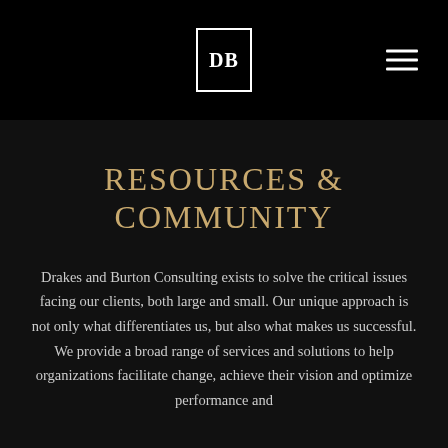[Figure (logo): DB logo in a rectangular border box, white on black background, centered in navigation bar]
Navigation bar with DB logo and hamburger menu
RESOURCES & COMMUNITY
Drakes and Burton Consulting exists to solve the critical issues facing our clients, both large and small. Our unique approach is not only what differentiates us, but also what makes us successful. We provide a broad range of services and solutions to help organizations facilitate change, achieve their vision and optimize performance and